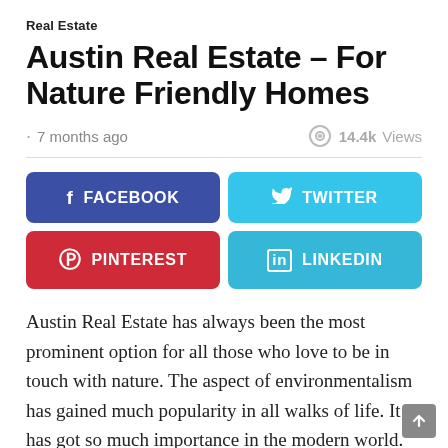Real Estate
Austin Real Estate – For Nature Friendly Homes
· 7 months ago
14.4k Views
[Figure (infographic): Social sharing buttons for Facebook, Twitter, Pinterest, and LinkedIn]
Austin Real Estate has always been the most prominent option for all those who love to be in touch with nature. The aspect of environmentalism has gained much popularity in all walks of life. It has got so much importance in the modern world. In the earlier times, the